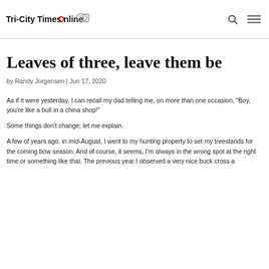Tri-City Times Online
Leaves of three, leave them be
by Randy Jorgensen | Jun 17, 2020
As if it were yesterday, I can recall my dad telling me, on more than one occasion, “Boy, you’re like a bull in a china shop!”
Some things don’t change; let me explain.
A few of years ago, in mid-August, I went to my hunting property to set my treestands for the coming bow season. And of course, it seems, I’m always in the wrong spot at the right time or something like that. The previous year I observed a very nice buck cross a